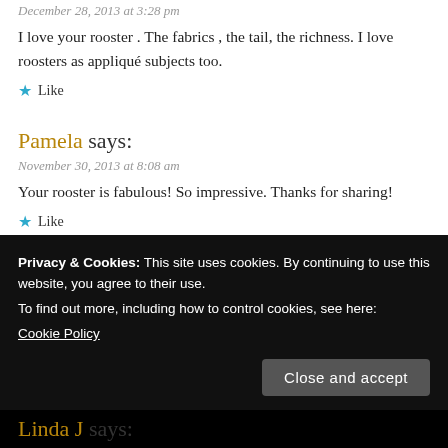December 28, 2013 at 3:28 pm
I love your rooster . The fabrics , the tail, the richness. I love roosters as appliqué subjects too.
★ Like
Pamela says:
November 30, 2013 at 8:08 am
Your rooster is fabulous! So impressive. Thanks for sharing!
★ Like
ssparrowinflight says:
Privacy & Cookies: This site uses cookies. By continuing to use this website, you agree to their use. To find out more, including how to control cookies, see here: Cookie Policy
Close and accept
Linda J says: